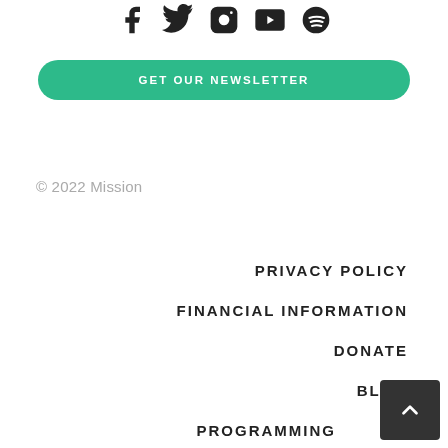[Figure (other): Social media icons: Facebook, Twitter, Instagram, YouTube, Spotify]
GET OUR NEWSLETTER
© 2022 Mission
PRIVACY POLICY
FINANCIAL INFORMATION
DONATE
BLOG
PROGRAMMING
[Figure (other): Scroll to top button with up arrow chevron]